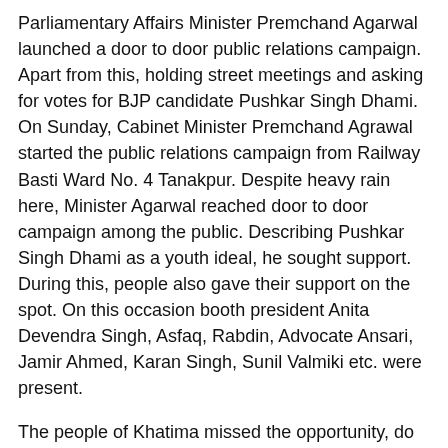Parliamentary Affairs Minister Premchand Agarwal launched a door to door public relations campaign. Apart from this, holding street meetings and asking for votes for BJP candidate Pushkar Singh Dhami. On Sunday, Cabinet Minister Premchand Agrawal started the public relations campaign from Railway Basti Ward No. 4 Tanakpur. Despite heavy rain here, Minister Agarwal reached door to door campaign among the public. Describing Pushkar Singh Dhami as a youth ideal, he sought support. During this, people also gave their support on the spot. On this occasion booth president Anita Devendra Singh, Asfaq, Rabdin, Advocate Ansari, Jamir Ahmed, Karan Singh, Sunil Valmiki etc. were present.
The people of Khatima missed the opportunity, do not let you miss:
In the Gram Sabha Maniharkot, Cabinet Minister Premchand Agrawal addressed the street meeting. He said that BJP does whatever it says and will say. Will show him. Said that our government works on the principle of Sabka Saath, Sabka Vikas, Sabka Vishwas. Said that Uttarakhand needs young Chief Minister